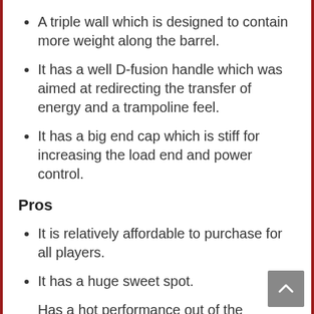A triple wall which is designed to contain more weight along the barrel.
It has a well D-fusion handle which was aimed at redirecting the transfer of energy and a trampoline feel.
It has a big end cap which is stiff for increasing the load end and power control.
Pros
It is relatively affordable to purchase for all players.
It has a huge sweet spot.
Has a hot performance out of the